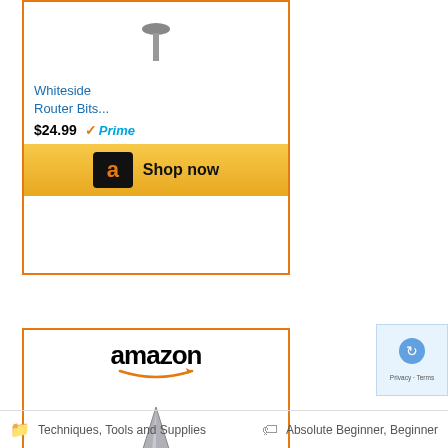[Figure (screenshot): Amazon product ad card (top, partially visible): Whiteside Router Bits... $24.99 with Prime badge and Shop now button]
[Figure (screenshot): Amazon product ad card: amazon logo, chamfer drill bit image, Whiteside Router Bits... $26.18 with Prime badge and Shop now button]
[Figure (screenshot): reCAPTCHA badge with blue puzzle icon, Privacy and Terms links]
Techniques, Tools and Supplies · Absolute Beginner, Beginner